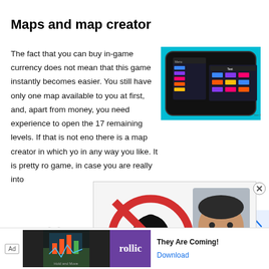Maps and map creator
The fact that you can buy in-game currency does not mean that this game instantly becomes easier. You still have only one map available to you at first, and, apart from money, you need experience to open the 17 remaining levels. If that is not enough, there is a map creator in which you can build in any way you like. It is pretty robust for a game, in case you are really into
[Figure (screenshot): Mobile game screenshot showing a dark-themed strategy game interface with colored buttons on a cyan/teal background]
[Figure (other): Advertisement overlay showing a red 'no Apple' symbol (Apple logo with a red circle and slash) and a photo of a man with a beard]
Graphics and sound
While o
[Figure (other): Bottom advertisement banner: 'They Are Coming!' game ad by Follic with download button]